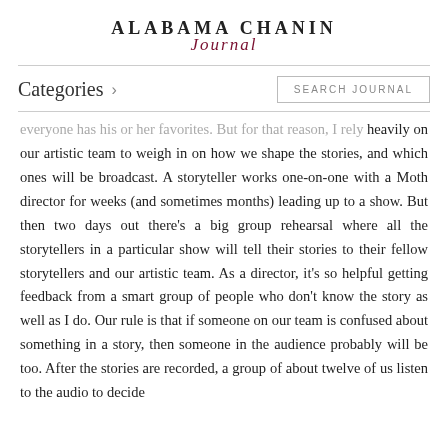ALABAMA CHANIN Journal
Categories
everyone has his or her favorites. But for that reason, I rely heavily on our artistic team to weigh in on how we shape the stories, and which ones will be broadcast. A storyteller works one-on-one with a Moth director for weeks (and sometimes months) leading up to a show. But then two days out there's a big group rehearsal where all the storytellers in a particular show will tell their stories to their fellow storytellers and our artistic team. As a director, it's so helpful getting feedback from a smart group of people who don't know the story as well as I do. Our rule is that if someone on our team is confused about something in a story, then someone in the audience probably will be too. After the stories are recorded, a group of about twelve of us listen to the audio to decide